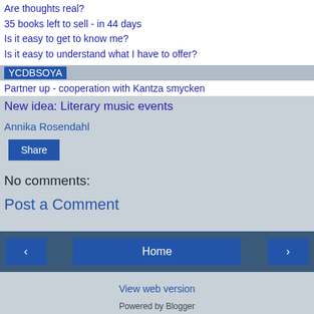Are thoughts real?
35 books left to sell - in 44 days
Is it easy to get to know me?
Is it easy to understand what I have to offer?
YCDBSOYA
Partner up - cooperation with Kantza smycken
New idea: Literary music events
Annika Rosendahl
Share
No comments:
Post a Comment
‹   Home   ›
View web version
Powered by Blogger